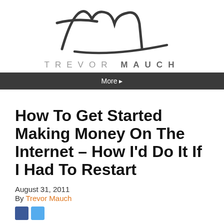[Figure (logo): Trevor Mauch cursive/signature logo in dark gray]
TREVOR MAUCH
More ▸
How To Get Started Making Money On The Internet – How I'd Do It If I Had To Restart
August 31, 2011
By Trevor Mauch
[Figure (other): Social share buttons (Facebook blue, Twitter blue)]